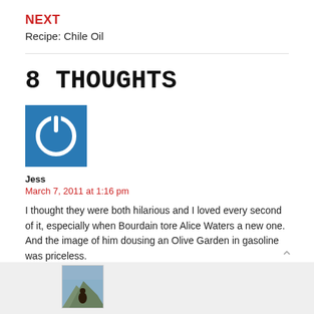NEXT
Recipe: Chile Oil
8 THOUGHTS
[Figure (illustration): Blue square avatar icon with a white power button symbol (circle with a vertical line at top)]
Jess
March 7, 2011 at 1:16 pm
I thought they were both hilarious and I loved every second of it, especially when Bourdain tore Alice Waters a new one. And the image of him dousing an Olive Garden in gasoline was priceless.
REPLY
[Figure (photo): Small thumbnail photo of a person outdoors in a mountainous landscape, visible at bottom of page in a gray comment box]